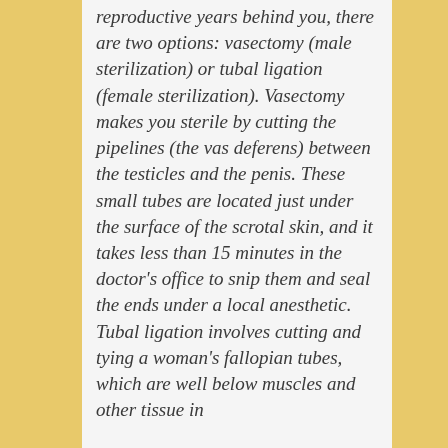reproductive years behind you, there are two options: vasectomy (male sterilization) or tubal ligation (female sterilization). Vasectomy makes you sterile by cutting the pipelines (the vas deferens) between the testicles and the penis. These small tubes are located just under the surface of the scrotal skin, and it takes less than 15 minutes in the doctor's office to snip them and seal the ends under a local anesthetic. Tubal ligation involves cutting and tying a woman's fallopian tubes, which are well below muscles and other tissue in